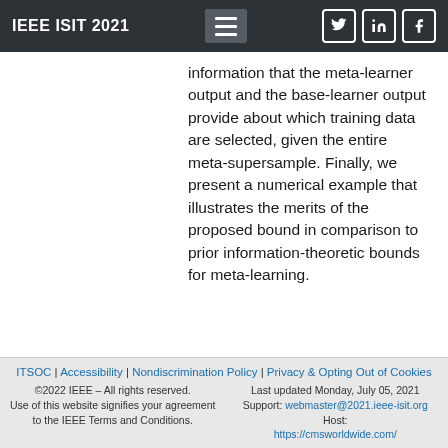IEEE ISIT 2021
information that the meta-learner output and the base-learner output provide about which training data are selected, given the entire meta-supersample. Finally, we present a numerical example that illustrates the merits of the proposed bound in comparison to prior information-theoretic bounds for meta-learning.
ITSOC | Accessibility | Nondiscrimination Policy | Privacy & Opting Out of Cookies
©2022 IEEE – All rights reserved.
Use of this website signifies your agreement to the IEEE Terms and Conditions.
Last updated Monday, July 05, 2021
Support: webmaster@2021.ieee-isit.org Host: https://cmsworldwide.com/